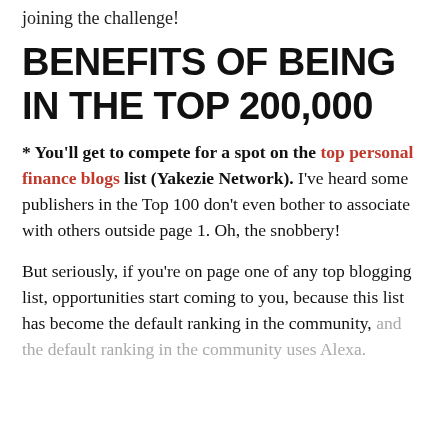joining the challenge!
BENEFITS OF BEING IN THE TOP 200,000
* You'll get to compete for a spot on the top personal finance blogs list (Yakezie Network). I've heard some publishers in the Top 100 don't even bother to associate with others outside page 1. Oh, the snobbery!
But seriously, if you're on page one of any top blogging list, opportunities start coming to you, because this list has become the default ranking in the community, and the default ranking in the community uses Alexa.